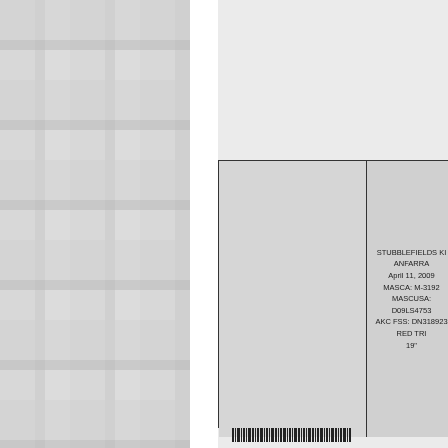[Figure (other): Plaid/tartan pattern background on left side of page]
| (photo/image area) | STUBBLEFIELDS KI
ANFARRA
April 11, 2009
MASCA: M-3192
MASCUSA:
D09LS4753
AKC FSS: DN318923
RED TRI
19" |